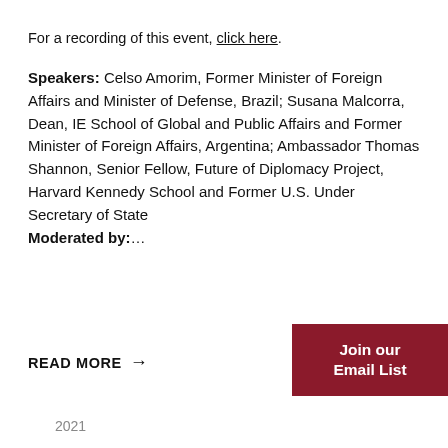For a recording of this event, click here.
Speakers: Celso Amorim, Former Minister of Foreign Affairs and Minister of Defense, Brazil; Susana Malcorra, Dean, IE School of Global and Public Affairs and Former Minister of Foreign Affairs, Argentina; Ambassador Thomas Shannon, Senior Fellow, Future of Diplomacy Project, Harvard Kennedy School and Former U.S. Under Secretary of State Moderated by:…
READ MORE →
Join our Email List
2021